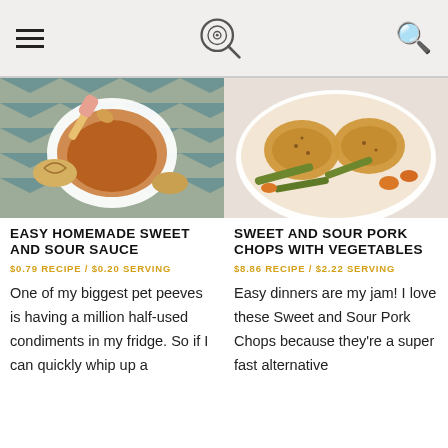Navigation header with hamburger menu, logo/magnifying glass icon, and search icon
[Figure (photo): Overhead shot of sweet and sour sauce in a white bowl with a spoon, on a patterned cloth]
[Figure (photo): Overhead shot of sweet and sour pork chops with vegetables (green beans, carrots) in a white dish]
EASY HOMEMADE SWEET AND SOUR SAUCE
$0.79 RECIPE / $0.20 SERVING
One of my biggest pet peeves is having a million half-used condiments in my fridge. So if I can quickly whip up a
SWEET AND SOUR PORK CHOPS WITH VEGETABLES
$8.86 RECIPE / $2.22 SERVING
Easy dinners are my jam! I love these Sweet and Sour Pork Chops because they're a super fast alternative